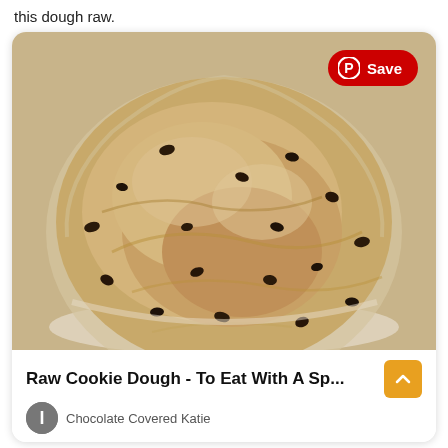this dough raw.
[Figure (photo): Photo of chocolate chip cookie dough in a glass bowl, viewed from above, with a red Pinterest Save button overlay in the top right corner]
Raw Cookie Dough - To Eat With A Sp...
Chocolate Covered Katie